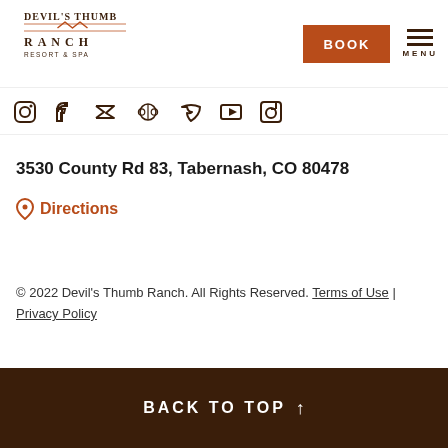Devil's Thumb Ranch Resort & Spa — BOOK | MENU
[Figure (logo): Devil's Thumb Ranch Resort & Spa logo with decorative ranch typography and underline graphic]
[Figure (infographic): Row of social media icons: Instagram, Facebook, Twitter, TripAdvisor, Pinterest, YouTube, LinkedIn]
3530 County Rd 83, Tabernash, CO 80478
Directions
© 2022 Devil's Thumb Ranch. All Rights Reserved. Terms of Use | Privacy Policy
BACK TO TOP ↑